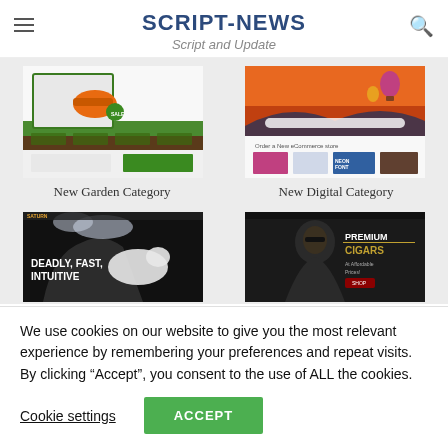SCRIPT-NEWS
Script and Update
[Figure (screenshot): Screenshot of New Garden Category website showing garden tools and lawn imagery]
New Garden Category
[Figure (screenshot): Screenshot of New Digital Category website showing hot air balloons at sunset and digital content]
New Digital Category
[Figure (screenshot): Screenshot of gaming website with text DEADLY, FAST, INTUITIVE]
[Figure (screenshot): Screenshot of Premium Cigars website with man in suit]
We use cookies on our website to give you the most relevant experience by remembering your preferences and repeat visits. By clicking “Accept”, you consent to the use of ALL the cookies.
Cookie settings
ACCEPT